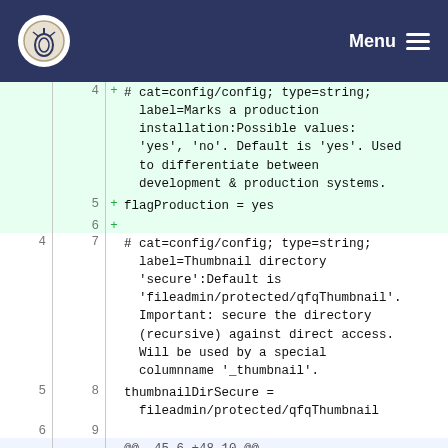Menu
4  + # cat=config/config; type=string; label=Marks a production installation:Possible values: 'yes', 'no'. Default is 'yes'. Used to differentiate between development & production systems.
5  + flagProduction = yes
6  +
4  7    # cat=config/config; type=string; label=Thumbnail directory 'secure':Default is 'fileadmin/protected/qfqThumbnail'. Important: secure the directory (recursive) against direct access. Will be used by a special columnname '_thumbnail'.
5  8    thumbnailDirSecure = fileadmin/protected/qfqThumbnail
6  9
... ...  @@ -45,6 +48,10 @@